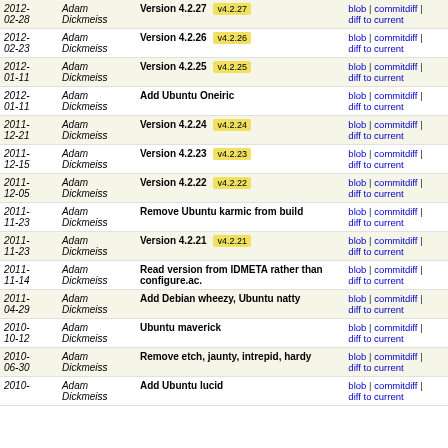| Date | Author | Commit message | Links |
| --- | --- | --- | --- |
| 2012-02-28 | Adam Dickmeiss | Version 4.2.27 v4.2.27 | blob | commitdiff | diff to current |
| 2012-02-23 | Adam Dickmeiss | Version 4.2.26 v4.2.26 | blob | commitdiff | diff to current |
| 2012-01-11 | Adam Dickmeiss | Version 4.2.25 v4.2.25 | blob | commitdiff | diff to current |
| 2012-01-11 | Adam Dickmeiss | Add Ubuntu Oneiric | blob | commitdiff | diff to current |
| 2011-12-21 | Adam Dickmeiss | Version 4.2.24 v4.2.24 | blob | commitdiff | diff to current |
| 2011-12-15 | Adam Dickmeiss | Version 4.2.23 v4.2.23 | blob | commitdiff | diff to current |
| 2011-12-05 | Adam Dickmeiss | Version 4.2.22 v4.2.22 | blob | commitdiff | diff to current |
| 2011-11-23 | Adam Dickmeiss | Remove Ubuntu karmic from build | blob | commitdiff | diff to current |
| 2011-11-23 | Adam Dickmeiss | Version 4.2.21 v4.2.21 | blob | commitdiff | diff to current |
| 2011-11-14 | Adam Dickmeiss | Read version from IDMETA rather than configure.ac. | blob | commitdiff | diff to current |
| 2011-04-29 | Adam Dickmeiss | Add Debian wheezy, Ubuntu natty | blob | commitdiff | diff to current |
| 2010-10-12 | Adam Dickmeiss | Ubuntu maverick | blob | commitdiff | diff to current |
| 2010-06-30 | Adam Dickmeiss | Remove etch, jaunty, intrepid, hardy | blob | commitdiff | diff to current |
| 2010- | Adam Dickmeiss | Add Ubuntu lucid | blob | commitdiff | diff to current |